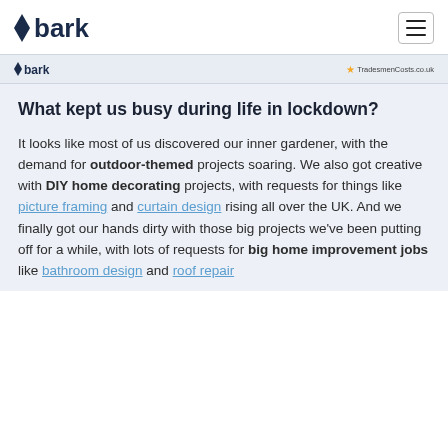bark (logo) — hamburger menu
[Figure (logo): bark and TradesmenCosts.co.uk banner logos]
What kept us busy during life in lockdown?
It looks like most of us discovered our inner gardener, with the demand for outdoor-themed projects soaring. We also got creative with DIY home decorating projects, with requests for things like picture framing and curtain design rising all over the UK. And we finally got our hands dirty with those big projects we've been putting off for a while, with lots of requests for big home improvement jobs like bathroom design and roof repair